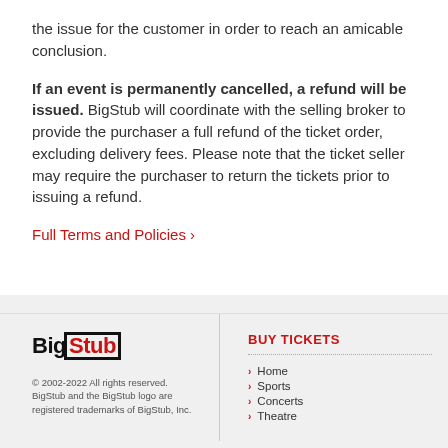the issue for the customer in order to reach an amicable conclusion.
If an event is permanently cancelled, a refund will be issued. BigStub will coordinate with the selling broker to provide the purchaser a full refund of the ticket order, excluding delivery fees. Please note that the ticket seller may require the purchaser to return the tickets prior to issuing a refund.
Full Terms and Policies ›
[Figure (logo): BigStub logo — Big in black bold, Stub in red bold, with a black bracket outline around Stub]
© 2002-2022 All rights reserved. BigStub and the BigStub logo are registered trademarks of BigStub, Inc.
BUY TICKETS
Home
Sports
Concerts
Theatre